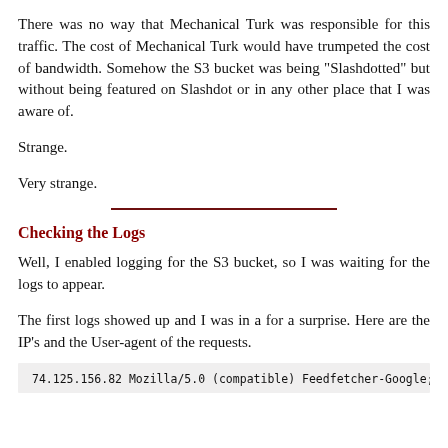There was no way that Mechanical Turk was responsible for this traffic. The cost of Mechanical Turk would have trumpeted the cost of bandwidth. Somehow the S3 bucket was being "Slashdotted" but without being featured on Slashdot or in any other place that I was aware of.
Strange.
Very strange.
Checking the Logs
Well, I enabled logging for the S3 bucket, so I was waiting for the logs to appear.
The first logs showed up and I was in a for a surprise. Here are the IP's and the User-agent of the requests.
74.125.156.82 Mozilla/5.0 (compatible) Feedfetcher-Google; (+http://www.